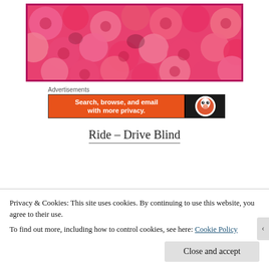[Figure (photo): Close-up photo of pink/red roses filling the frame, with a magenta/hot-pink border.]
Advertisements
[Figure (screenshot): DuckDuckGo advertisement banner: orange section with text 'Search, browse, and email with more privacy.' and dark section with DuckDuckGo logo.]
Ride – Drive Blind
Privacy & Cookies: This site uses cookies. By continuing to use this website, you agree to their use.
To find out more, including how to control cookies, see here: Cookie Policy
Close and accept